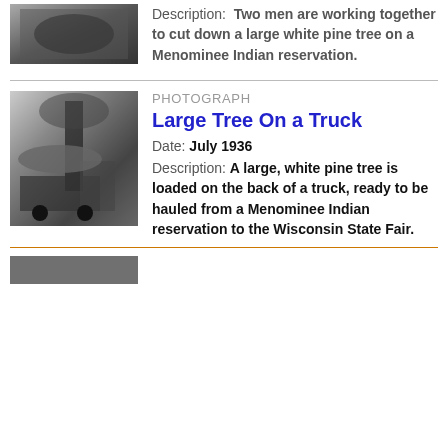[Figure (photo): Black and white photograph (cropped, partially visible) of two men cutting down a large tree.]
Description: Two men are working together to cut down a large white pine tree on a Menominee Indian reservation.
[Figure (photo): Black and white photograph of a large tree loaded on the back of a truck.]
PHOTOGRAPH
Large Tree On a Truck
Date: July 1936
Description: A large, white pine tree is loaded on the back of a truck, ready to be hauled from a Menominee Indian reservation to the Wisconsin State Fair.
[Figure (photo): Partially visible photograph at the bottom of the page (cropped).]